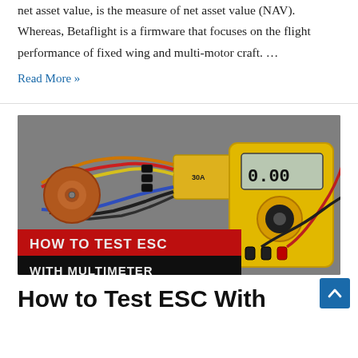net asset value, is the measure of net asset value (NAV). Whereas, Betaflight is a firmware that focuses on the flight performance of fixed wing and multi-motor craft. …
Read More »
[Figure (photo): Photo of ESC (Electronic Speed Controller) with wires and a yellow multimeter on a grey surface. Red banner text reads 'HOW TO TEST ESC' and black banner below reads 'WITH MULTIMETER'.]
How to Test ESC With